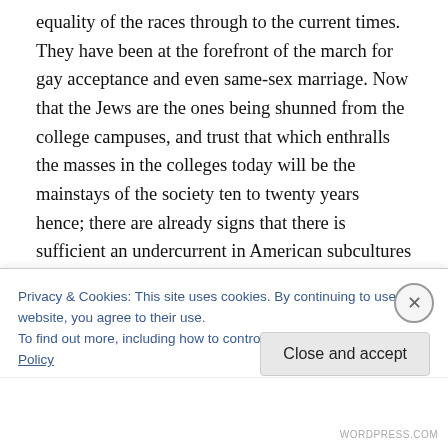equality of the races through to the current times. They have been at the forefront of the march for gay acceptance and even same-sex marriage. Now that the Jews are the ones being shunned from the college campuses, and trust that which enthralls the masses in the colleges today will be the mainstays of the society ten to twenty years hence; there are already signs that there is sufficient an undercurrent in American subcultures which already hold anti-Semitic feelings which are now slowly emerging from what many would claim were the same
Privacy & Cookies: This site uses cookies. By continuing to use this website, you agree to their use.
To find out more, including how to control cookies, see here: Cookie Policy
Close and accept